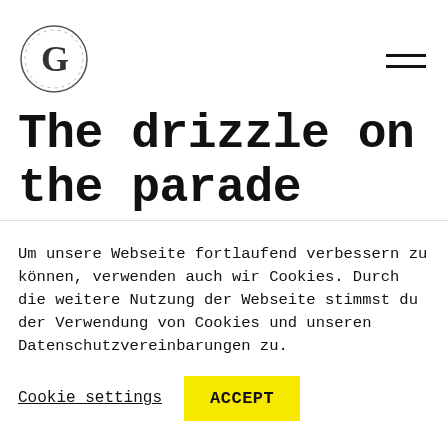[G logo] [hamburger menu]
The drizzle on the parade
The problem? When we start raging about these new options to our clients or project groups we get the “but” talk.
Yeah, sounds awesome,
Um unsere Webseite fortlaufend verbessern zu können, verwenden auch wir Cookies. Durch die weitere Nutzung der Webseite stimmst du der Verwendung von Cookies und unseren Datenschutzvereinbarungen zu.
Cookie settings  ACCEPT